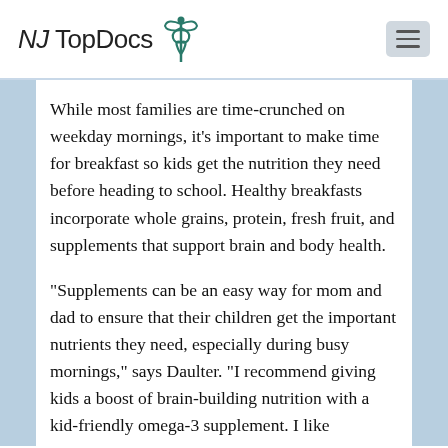NJ Top Docs
While most families are time-crunched on weekday mornings, it’s important to make time for breakfast so kids get the nutrition they need before heading to school. Healthy breakfasts incorporate whole grains, protein, fresh fruit, and supplements that support brain and body health.
“Supplements can be an easy way for mom and dad to ensure that their children get the important nutrients they need, especially during busy mornings,” says Daulter. “I recommend giving kids a boost of brain-building nutrition with a kid-friendly omega-3 supplement. I like chewable, strawberry-flavored Nordic Naturals